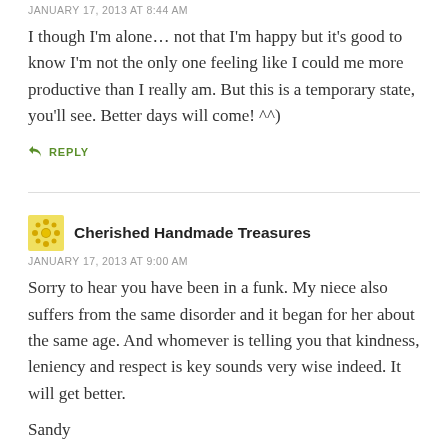JANUARY 17, 2013 AT 8:44 AM
I though I'm alone… not that I'm happy but it's good to know I'm not the only one feeling like I could me more productive than I really am. But this is a temporary state, you'll see. Better days will come! ^^)
↳ REPLY
Cherished Handmade Treasures
JANUARY 17, 2013 AT 9:00 AM
Sorry to hear you have been in a funk. My niece also suffers from the same disorder and it began for her about the same age. And whomever is telling you that kindness, leniency and respect is key sounds very wise indeed. It will get better.
Sandy
Cherished Handmade Treasures